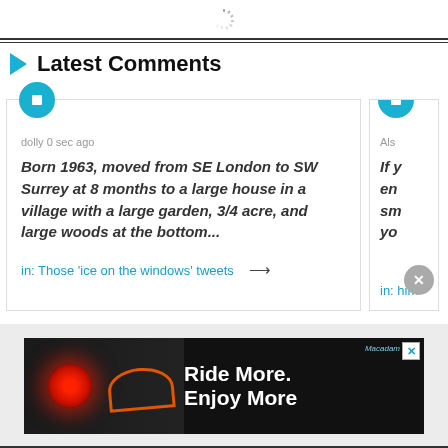[Figure (other): Loading spinner icon at top center of page]
Latest Comments
dolly 0 sec ago
Born 1963, moved from SE London to SW Surrey at 8 months to a large house in a village with a large garden, 3/4 acre, and large woods at the bottom...
in: Those 'ice on the windows' tweets →
Als...
If y... en... sm... yo...
in: him...
[Figure (photo): Advertisement banner: dark background with glowing red bicycle light on left, orange bicycle on right. Text: 'Ride More. Enjoy More' in white bold font. Macadam logo at top.]